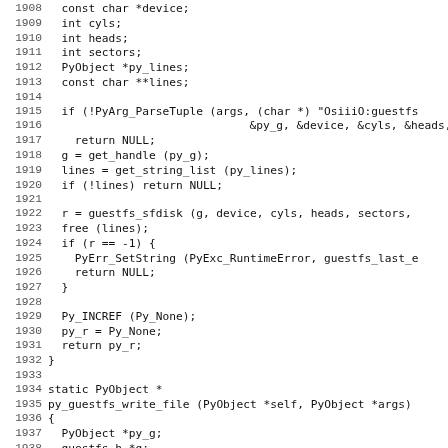Source code listing lines 1908-1939, C code for Python bindings to guestfs library